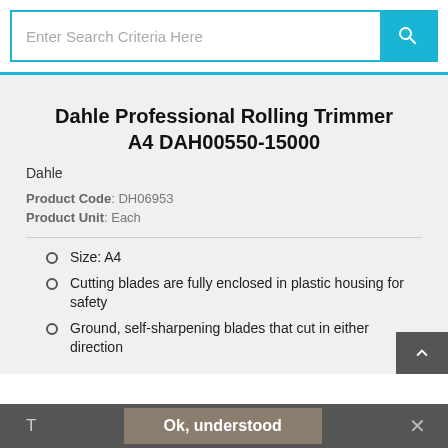Enter Search Criteria Here
Dahle Professional Rolling Trimmer A4 DAH00550-15000
Dahle
Product Code: DH06953
Product Unit: Each
Size: A4
Cutting blades are fully enclosed in plastic housing for safety
Ground, self-sharpening blades that cut in either direction
T  Ok, understood  ✕